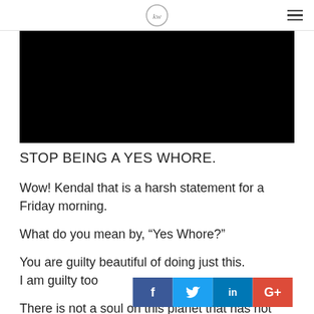KW logo and navigation hamburger menu
[Figure (photo): Black rectangle image area, likely a video thumbnail or featured image]
STOP BEING A YES WHORE.
Wow! Kendal that is a harsh statement for a Friday morning.
What do you mean by, “Yes Whore?”
You are guilty beautiful of doing just this. I am guilty too
There is not a soul on this planet that has not
[Figure (infographic): Social share bar with Facebook (f), Twitter (bird), LinkedIn (in), and Google+ (G+) buttons]